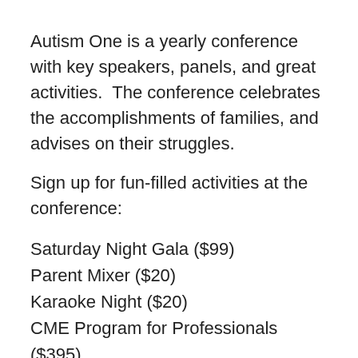Autism One is a yearly conference with key speakers, panels, and great activities.  The conference celebrates the accomplishments of families, and advises on their struggles.
Sign up for fun-filled activities at the conference:
Saturday Night Gala ($99)
Parent Mixer ($20)
Karaoke Night ($20)
CME Program for Professionals ($395)
Culinary Day – Morning ($35)
Culinary Day – Afternoon ($35)
Always fresh, bridging established solutions with trailblazing options, AutismOne: The Cutting-Edge Autism